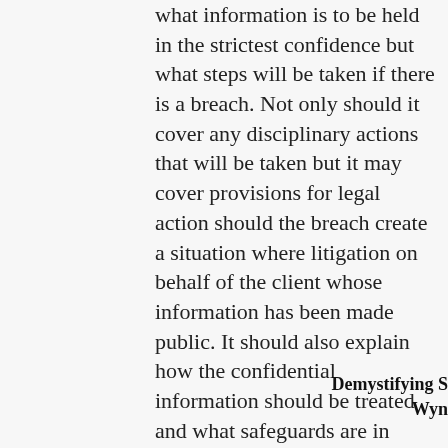what information is to be held in the strictest confidence but what steps will be taken if there is a breach. Not only should it cover any disciplinary actions that will be taken but it may cover provisions for legal action should the breach create a situation where litigation on behalf of the client whose information has been made public. It should also explain how the confidential information should be treated and what safeguards are in place to prevent a leak.
Demystifying S
Wyn